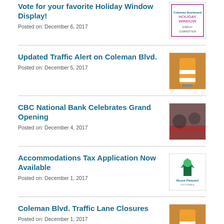Vote for your favorite Holiday Window Display!
Posted on: December 6, 2017
Updated Traffic Alert on Coleman Blvd.
Posted on: December 5, 2017
CBC National Bank Celebrates Grand Opening
Posted on: December 4, 2017
Accommodations Tax Application Now Available
Posted on: December 1, 2017
Coleman Blvd. Traffic Lane Closures
Posted on: December 1, 2017
Mayor Haynie Announces